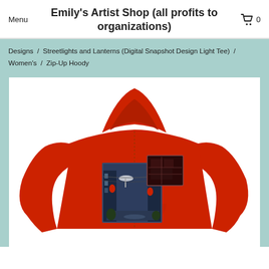Menu
Emily's Artist Shop (all profits to organizations)
0
Designs / Streetlights and Lanterns (Digital Snapshot Design Light Tee) / Women's / Zip-Up Hoody
[Figure (photo): Red zip-up hoody shown from the back, featuring a digital artwork print of a Japanese alley with streetlights and lanterns at night, displayed on a white background.]